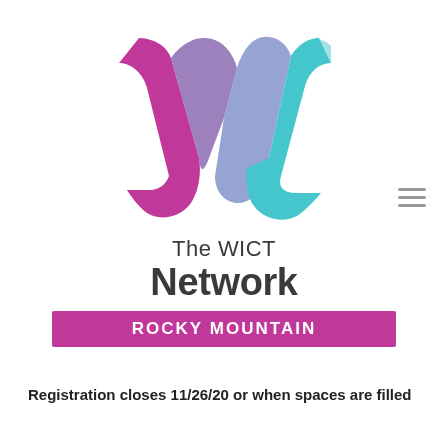[Figure (logo): The WICT Network Rocky Mountain chapter logo — stylized W mark in pink/magenta, purple, and teal/cyan ribbon shapes, with text 'The WICT Network' and a pink banner reading 'ROCKY MOUNTAIN']
Registration closes 11/26/20 or when spaces are filled